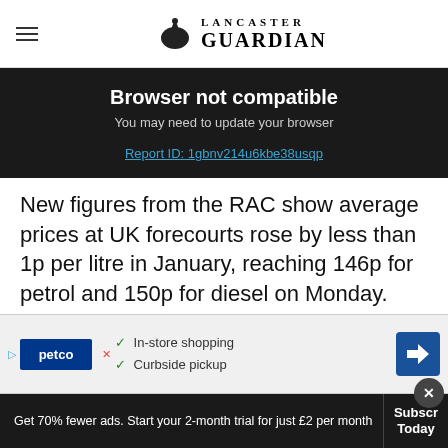Lancaster Guardian
Browser not compatible
You may need to update your browser
Report ID: 1gbnv214u6kbe38usqp
New figures from the RAC show average prices at UK forecourts rose by less than 1p per litre in January, reaching 146p for petrol and 150p for diesel on Monday.
The c... a "bette... gins
[Figure (screenshot): Petco advertisement banner showing In-store shopping and Curbside pickup options with navigation icon]
Get 70% fewer ads. Start your 2-month trial for just £2 per month   Subscribe Today